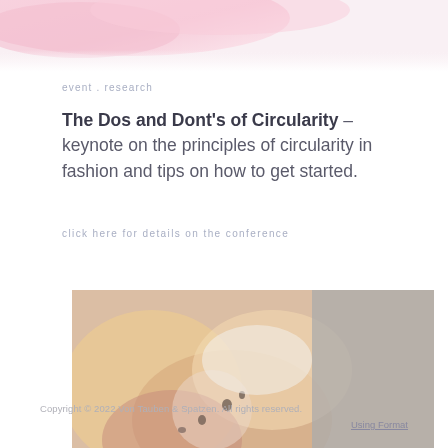[Figure (photo): Abstract pink and white decorative image at the top of the page]
event . research
The Dos and Dont's of Circularity – keynote on the principles of circularity in fashion and tips on how to get started.
click here for details on the conference
[Figure (photo): Close-up photo of colorful fabric or food items, partially overlaid with gray]
Copyright © 2022 Von Tauben & Spatzen. All rights reserved.
Using Format